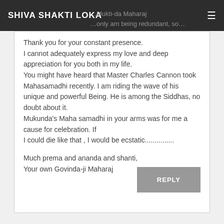SHIVA SHAKTI LOKA
Thank you for your constant presence.
I cannot adequately express my love and deep appreciation for you both in my life.
You might have heard that Master Charles Cannon took Mahasamadhi recently. I am riding the wave of his unique and powerful Being. He is among the Siddhas, no doubt about it.
Mukunda's Maha samadhi in your arms was for me a cause for celebration. If
I could die like that , I would be ecstatic...............

Much prema and ananda and shanti,
Your own Govinda-ji Maharaj